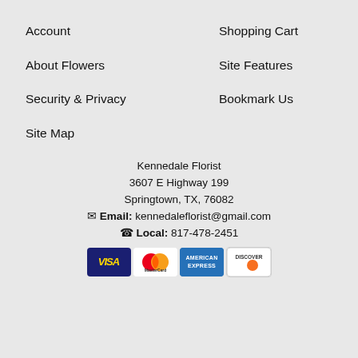Account
Shopping Cart
About Flowers
Site Features
Security & Privacy
Bookmark Us
Site Map
Kennedale Florist
3607 E Highway 199
Springtown, TX, 76082
✉ Email: kennedaleflorist@gmail.com
☎ Local: 817-478-2451
[Figure (other): Payment card logos: Visa, MasterCard, American Express, Discover]